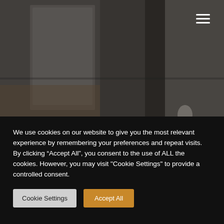[Figure (photo): Blurred interior room photo with dark overlay, showing shelves or furniture in muted gray-brown tones. A hamburger menu icon (three white horizontal lines) appears in the upper right corner.]
We use cookies on our website to give you the most relevant experience by remembering your preferences and repeat visits. By clicking “Accept All”, you consent to the use of ALL the cookies. However, you may visit "Cookie Settings" to provide a controlled consent.
Cookie Settings
Accept All